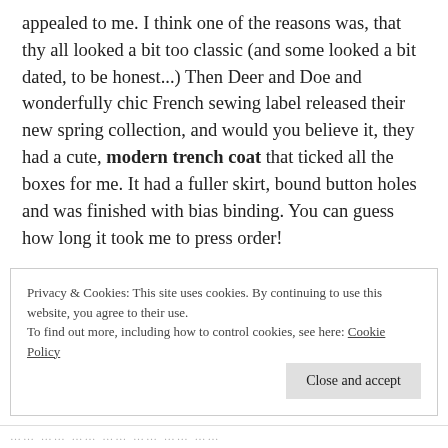appealed to me. I think one of the reasons was, that thy all looked a bit too classic (and some looked a bit dated, to be honest...) Then Deer and Doe and wonderfully chic French sewing label released their new spring collection, and would you believe it, they had a cute, modern trench coat that ticked all the boxes for me. It had a fuller skirt, bound button holes and was finished with bias binding. You can guess how long it took me to press order!
Privacy & Cookies: This site uses cookies. By continuing to use this website, you agree to their use.
To find out more, including how to control cookies, see here: Cookie Policy
......